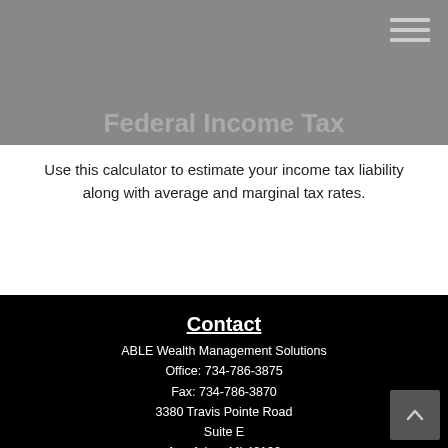Federal Income Tax
Use this calculator to estimate your income tax liability along with average and marginal tax rates.
Contact
ABLE Wealth Management Solutions
Office: 734-786-3875
Fax: 734-786-3870
3380 Travis Pointe Road
Suite E
Ann Arbor, MI 48108
Life, Health, Variable Life
kenzehnder@ablewms.com